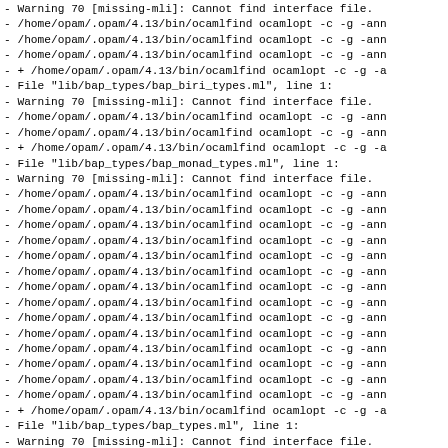- Warning 70 [missing-mli]: Cannot find interface file.
- /home/opam/.opam/4.13/bin/ocamlfind ocamlopt -c -g -ann
- /home/opam/.opam/4.13/bin/ocamlfind ocamlopt -c -g -ann
- /home/opam/.opam/4.13/bin/ocamlfind ocamlopt -c -g -ann
- + /home/opam/.opam/4.13/bin/ocamlfind ocamlopt -c -g -a
- File "lib/bap_types/bap_biri_types.ml", line 1:
- Warning 70 [missing-mli]: Cannot find interface file.
- /home/opam/.opam/4.13/bin/ocamlfind ocamlopt -c -g -ann
- /home/opam/.opam/4.13/bin/ocamlfind ocamlopt -c -g -ann
- + /home/opam/.opam/4.13/bin/ocamlfind ocamlopt -c -g -a
- File "lib/bap_types/bap_monad_types.ml", line 1:
- Warning 70 [missing-mli]: Cannot find interface file.
- /home/opam/.opam/4.13/bin/ocamlfind ocamlopt -c -g -ann
- /home/opam/.opam/4.13/bin/ocamlfind ocamlopt -c -g -ann
- /home/opam/.opam/4.13/bin/ocamlfind ocamlopt -c -g -ann
- /home/opam/.opam/4.13/bin/ocamlfind ocamlopt -c -g -ann
- /home/opam/.opam/4.13/bin/ocamlfind ocamlopt -c -g -ann
- /home/opam/.opam/4.13/bin/ocamlfind ocamlopt -c -g -ann
- /home/opam/.opam/4.13/bin/ocamlfind ocamlopt -c -g -ann
- /home/opam/.opam/4.13/bin/ocamlfind ocamlopt -c -g -ann
- /home/opam/.opam/4.13/bin/ocamlfind ocamlopt -c -g -ann
- /home/opam/.opam/4.13/bin/ocamlfind ocamlopt -c -g -ann
- /home/opam/.opam/4.13/bin/ocamlfind ocamlopt -c -g -ann
- /home/opam/.opam/4.13/bin/ocamlfind ocamlopt -c -g -ann
- /home/opam/.opam/4.13/bin/ocamlfind ocamlopt -c -g -ann
- /home/opam/.opam/4.13/bin/ocamlfind ocamlopt -c -g -ann
- /home/opam/.opam/4.13/bin/ocamlfind ocamlopt -c -g -ann
- + /home/opam/.opam/4.13/bin/ocamlfind ocamlopt -c -g -a
- File "lib/bap_types/bap_types.ml", line 1:
- Warning 70 [missing-mli]: Cannot find interface file.
- /home/opam/.opam/4.13/bin/ocamlfind ocamlopt -c -g -lib